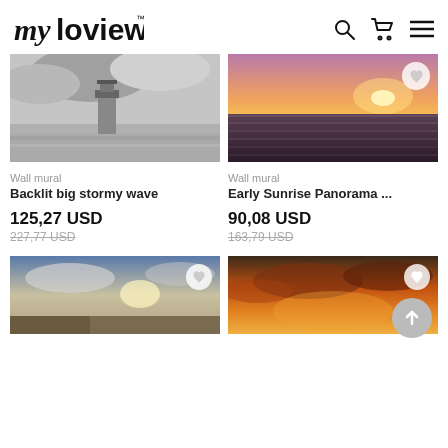myloview
[Figure (photo): Backlit big stormy wave with lighthouse in grey stormy weather]
[Figure (photo): Early Sunrise Panorama over ocean with orange and purple sky, heart/favorite button visible]
Wall mural
Backlit big stormy wave
125,27 USD
227,77 USD
Wall mural
Early Sunrise Panorama ...
90,08 USD
163,79 USD
[Figure (photo): Landscape with dramatic sky and sun rays, heart/favorite button visible]
[Figure (photo): Dramatic orange and golden sunset with clouds, heart/favorite button visible]